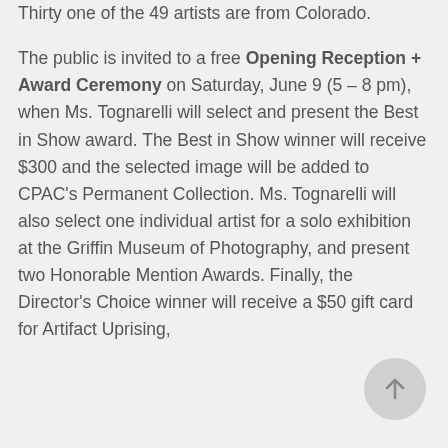Thirty one of the 49 artists are from Colorado. The public is invited to a free Opening Reception + Award Ceremony on Saturday, June 9 (5 – 8 pm), when Ms. Tognarelli will select and present the Best in Show award. The Best in Show winner will receive $300 and the selected image will be added to CPAC's Permanent Collection. Ms. Tognarelli will also select one individual artist for a solo exhibition at the Griffin Museum of Photography, and present two Honorable Mention Awards. Finally, the Director's Choice winner will receive a $50 gift card for Artifact Uprising,
[Figure (other): A circular scroll-to-top button with an upward arrow, gray background]